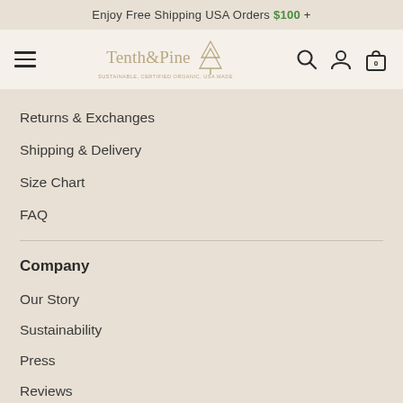Enjoy Free Shipping USA Orders $100 +
[Figure (logo): Tenth & Pine logo with tree icon and tagline 'Sustainable, Certified Organic, USA Made']
Returns & Exchanges
Shipping & Delivery
Size Chart
FAQ
Company
Our Story
Sustainability
Press
Reviews
Privacy Policy
Terms of Use